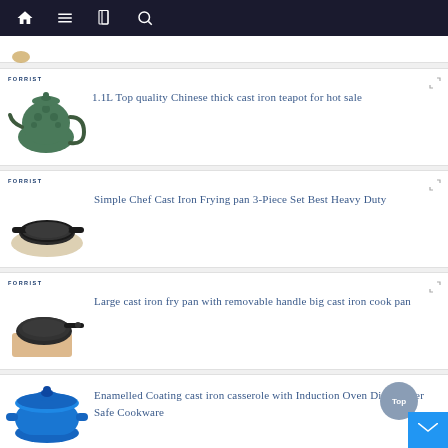Navigation bar with home, menu, book, and search icons
[Figure (screenshot): Partial product card with small circular product image (partially visible at top)]
FORREST
1.1L Top quality Chinese thick cast iron teapot for hot sale
[Figure (photo): Green cast iron teapot with decorative floral pattern]
FORREST
Simple Chef Cast Iron Frying pan 3-Piece Set Best Heavy Duty
[Figure (photo): Black cast iron frying pan on beige mat]
FORREST
Large cast iron fry pan with removable handle big cast iron cook pan
[Figure (photo): Black cast iron fry pan with removable handle on wooden board]
Enamelled Coating cast iron casserole with Induction Oven Dishwasher Safe Cookware
[Figure (photo): Blue enamelled cast iron casserole pot]